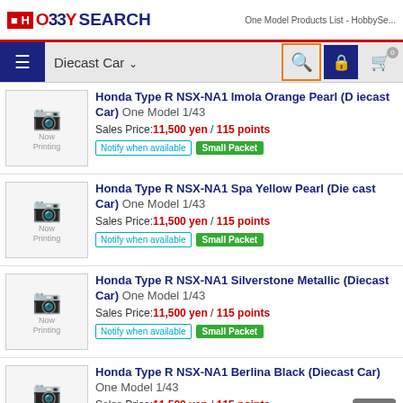HO33Y SEARCH — One Model Products List - HobbySe...
Diecast Car
Honda Type R NSX-NA1 Imola Orange Pearl (Diecast Car) One Model 1/43 Sales Price: 11,500 yen / 115 points
Honda Type R NSX-NA1 Spa Yellow Pearl (Diecast Car) One Model 1/43 Sales Price: 11,500 yen / 115 points
Honda Type R NSX-NA1 Silverstone Metallic (Diecast Car) One Model 1/43 Sales Price: 11,500 yen / 115 points
Honda Type R NSX-NA1 Berlina Black (Diecast Car) One Model 1/43 Sales Price: 11,500 yen / 115 points